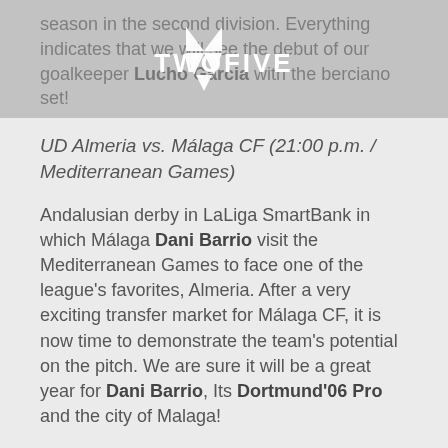season in the second division. Everything indicates that we will see the debut of our goalkeeper Lucho Garcia with the berciano set!
[Figure (logo): TWOFIVE logo with chevron/wing emblem above text, displayed in a semi-transparent grey banner overlay]
UD Almeria vs. Málaga CF (21:00 p.m. / Mediterranean Games)
Andalusian derby in LaLiga SmartBank in which Málaga Dani Barrio visit the Mediterranean Games to face one of the league's favorites, Almeria. After a very exciting transfer market for Málaga CF, it is now time to demonstrate the team's potential on the pitch. We are sure it will be a great year for Dani Barrio, Its Dortmund'06 Pro and the city of Malaga!
Sunday 05 September